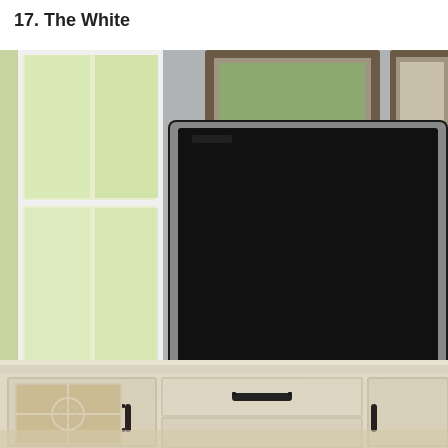17. The White
[Figure (photo): A white distressed TV console/media cabinet with decorative geometric glass door panels and dark metal handles, supporting a large flat-screen television. The room has light gray walls with framed artwork visible above, and a window on the left side showing greenery outside.]